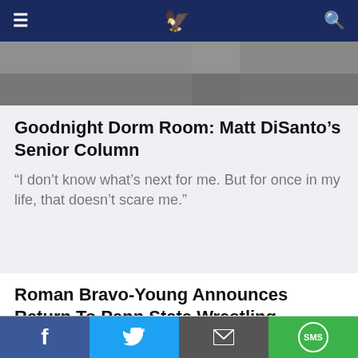[Figure (screenshot): Website navigation bar with hamburger menu icon, golden bird logo, and search icon on dark navy background]
[Figure (photo): Partial hero image showing blurred background, appears to be a sports or news photo]
Goodnight Dorm Room: Matt DiSanto's Senior Column
“I don’t know what’s next for me. But for once in my life, that doesn’t scare me.”
Roman Bravo-Young Announces Return To Penn State Wrestling
[Figure (photo): Partial advertisement image showing a person in a medical or clinical setting with equipment]
Laser Liposuction in Ashburn: The Cost Might Surprise You
Laser Liposuction | Sponsored
[Figure (screenshot): Social sharing bar with Facebook, Twitter, Email, and SMS buttons]